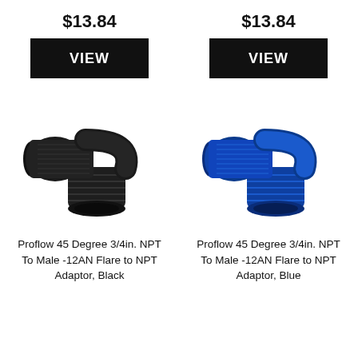$13.84
$13.84
VIEW
VIEW
[Figure (photo): Proflow 45 Degree 3/4in. NPT to Male -12AN flare to NPT adaptor fitting in black anodized aluminum]
[Figure (photo): Proflow 45 Degree 3/4in. NPT to Male -12AN flare to NPT adaptor fitting in blue anodized aluminum]
Proflow 45 Degree 3/4in. NPT To Male -12AN Flare to NPT Adaptor, Black
Proflow 45 Degree 3/4in. NPT To Male -12AN Flare to NPT Adaptor, Blue